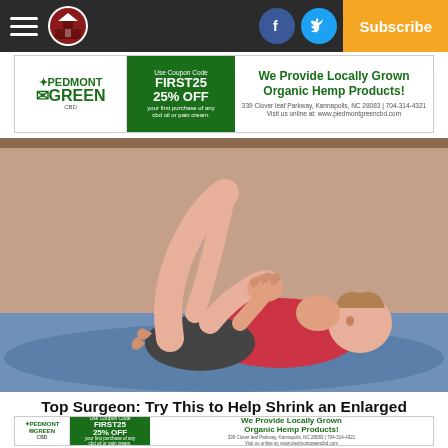Navigation bar with logo, hamburger menu, Facebook, Twitter social buttons, and Subscribe button
[Figure (infographic): Pedmont Green CBD advertisement banner: 'We Provide Locally Grown Organic Hemp Products! Use Coupon Code FIRST25 Receive 25% OFF your first purchase of any cbd oil or pain cream. 339 Clover leaf Parkway, Kannapolis, NC 28083 | 704-314-4321 Visit us online at: www.piedmontgreencbd.com']
[Figure (illustration): Illustration of a person lying on their back on a blue exercise mat, pulling one knee toward their chest with both hands, performing a knee-to-chest stretch exercise. The background has a reddish-brown wall and blue floor mat.]
Top Surgeon: Try This to Help Shrink an Enlarged Prostate
[Figure (infographic): Pedmont Green CBD advertisement banner (bottom): 'We Provide Locally Grown Organic Hemp Products! Use Coupon Code FIRST25 Receive 25% OFF your first purchase of any cbd oil or pain cream. 339 Clover leaf Parkway, Kannapolis, NC 28083 | 704-314-4321 Visit us online at: www.piedmontgreencbd.com']